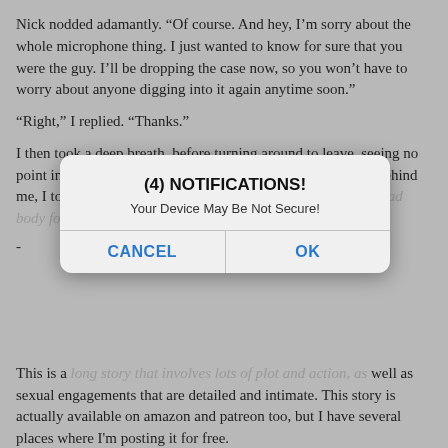Nick nodded adamantly. “Of course. And hey, I’m sorry about the whole microphone thing. I just wanted to know for sure that you were the guy. I’ll be dropping the case now, so you won’t have to worry about anyone digging into it again anytime soon.”
“Right,” I replied. “Thanks.”
I then took a deep breath, before turning around to leave, seeing no point in delaying what needed to be done. Locking the door behind me, I took to the air [obscured by dialog] blood, and then to go hide my second dead body for the day.
-
[Figure (screenshot): A fake browser notification dialog overlaid on the page text. Title: '(4) NOTIFICATIONS!' Message: 'Your Device May Be Not Secure!' Buttons: CANCEL and OK in blue.]
This is a long story that involves lots of plot and action, as well as sexual engagements that are detailed and intimate. This story is actually available on amazon and patreon too, but I have several places where I'm posting it for free.
-
Original: November 10, 2020 (Copyright 2020 Kaizer Wolf)
Submitted to Sexstories: June 10, 2022